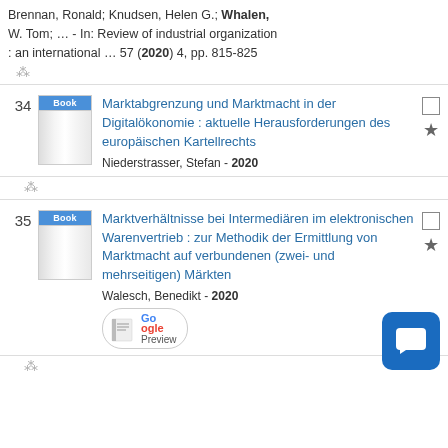Brennan, Ronald; Knudsen, Helen G.; Whalen, W. Tom; … - In: Review of industrial organization : an international … 57 (2020) 4, pp. 815-825
34 Marktabgrenzung und Marktmacht in der Digitalökonomie : aktuelle Herausforderungen des europäischen Kartellrechts. Niederstrasser, Stefan - 2020
35 Marktverhältnisse bei Intermediären im elektronischen Warenvertrieb : zur Methodik der Ermittlung von Marktmacht auf verbundenen (zwei- und mehrseitigen) Märkten. Walesch, Benedikt - 2020